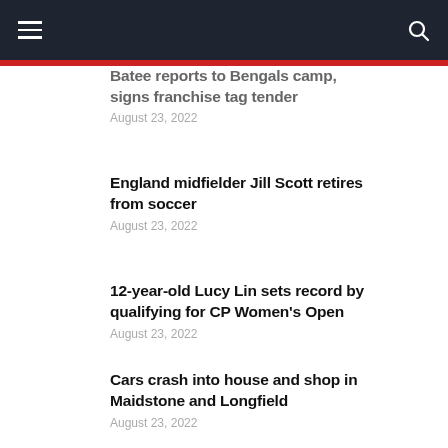≡  🔍
Batee reports to Bengals camp, signs franchise tag tender
August 23, 2022
England midfielder Jill Scott retires from soccer
August 23, 2022
12-year-old Lucy Lin sets record by qualifying for CP Women's Open
August 23, 2022
Cars crash into house and shop in Maidstone and Longfield
August 23, 2022